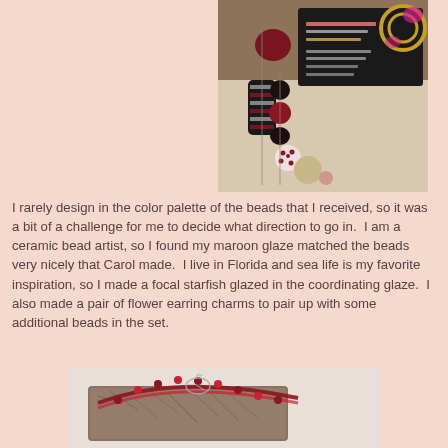[Figure (photo): Photo of lampwork glass beads in maroon, black, and white with a business card for DiVenere Diversions (Carol DiVenere, Lampwork Bead & Jewelry Artist) in the background]
I rarely design in the color palette of the beads that I received, so it was a bit of a challenge for me to decide what direction to go in.  I am a ceramic bead artist, so I found my maroon glaze matched the beads very nicely that Carol made.  I live in Florida and sea life is my favorite inspiration, so I made a focal starfish glazed in the coordinating glaze.  I also made a pair of flower earring charms to pair up with some additional beads in the set.
[Figure (photo): Photo of a jewelry piece featuring a ceramic starfish focal bead with red/maroon beads and wire wrapping on a textured surface]